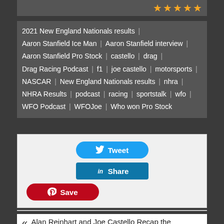[Figure (other): Top bar with dark background and five gold star rating icons on the right]
2021 New England Nationals results | Aaron Stanfield Ice Man | Aaron Stanfield interview | Aaron Stanfield Pro Stock | castello | drag | Drag Racing Podcast | f1 | joe castello | motorsports | NASCAR | New England Nationals results | nhra | NHRA Results | podcast | racing | sportstalk | wfo | WFO Podcast | WFOJoe | Who won Pro Stock
[Figure (infographic): Social share buttons: Tweet (Twitter), Share (LinkedIn), Save (Pinterest)]
« Alan Reinhart and Joe Castello Recap the TascaParts.com NHRA New England Nationals
Aaron Stanfield Pro Stock Winner